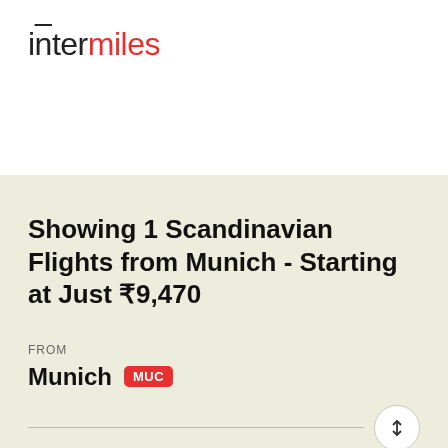[Figure (logo): InterMiles logo — 'inter' in dark/black text with a red vertical bar accent over the 'n', 'miles' in red]
Showing 1 Scandinavian Flights from Munich - Starting at Just ₹9,470
FROM
Munich MUC
TO